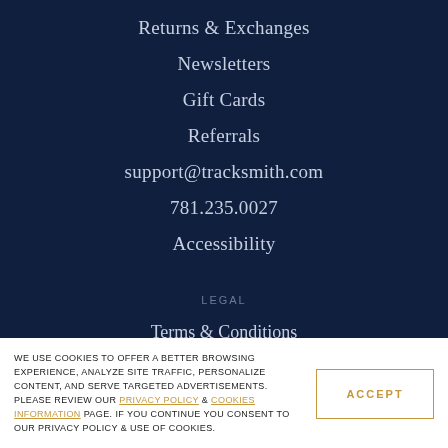Returns & Exchanges
Newsletters
Gift Cards
Referrals
support@tracksmith.com
781.235.0027
Accessibility
LEGAL
Terms & Conditions
Privacy Policy
WE USE COOKIES TO OFFER A BETTER BROWSING EXPERIENCE, ANALYZE SITE TRAFFIC, PERSONALIZE CONTENT, AND SERVE TARGETED ADVERTISEMENTS. PLEASE REVIEW OUR PRIVACY POLICY & COOKIES INFORMATION PAGE. IF YOU CONTINUE YOU CONSENT TO OUR PRIVACY POLICY & USE OF COOKIES.
ACCEPT